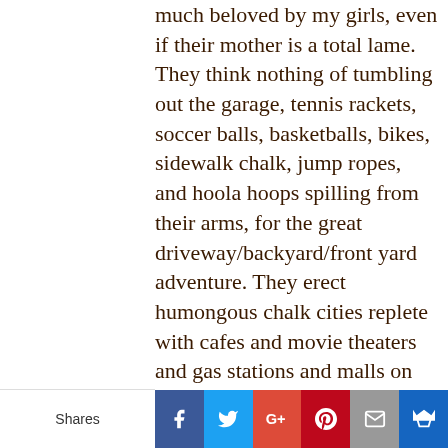much beloved by my girls, even if their mother is a total lame. They think nothing of tumbling out the garage, tennis rackets, soccer balls, basketballs, bikes, sidewalk chalk, jump ropes, and hoola hoops spilling from their arms, for the great driveway/backyard/front yard adventure. They erect humongous chalk cities replete with cafes and movie theaters and gas stations and malls on the concrete, and perform Olympic-worthy somersaults and back flips on the trampoline, and duel to the
Shares